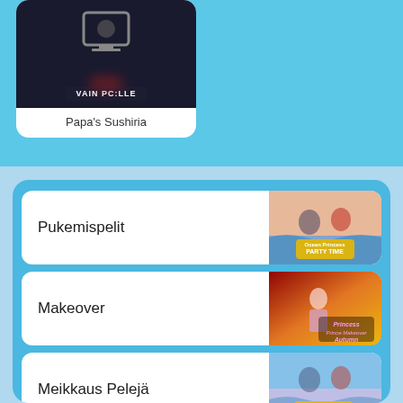[Figure (screenshot): Game card for Papa's Sushiria with dark background, monitor icon, and 'VAIN PC:LLE' badge]
Papa's Sushiria
Pukemispelit
Makeover
Meikkaus Pelejä
Animal Games